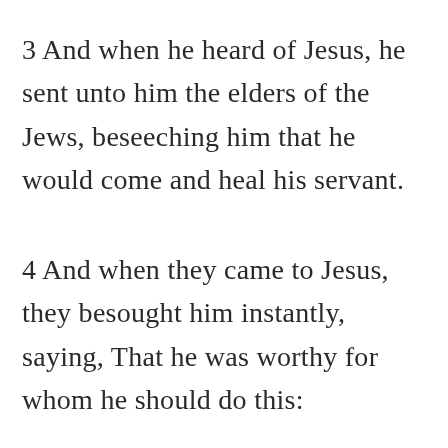3 And when he heard of Jesus, he sent unto him the elders of the Jews, beseeching him that he would come and heal his servant.
4 And when they came to Jesus, they besought him instantly, saying, That he was worthy for whom he should do this: